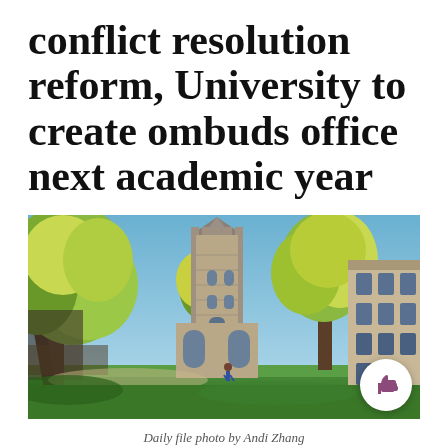conflict resolution reform, University to create ombuds office next academic year
[Figure (photo): Outdoor photo of a university campus showing a tall Gothic stone cathedral tower in the center background, flanked by autumn trees with yellow-green foliage and a stone building on the right. Blue sky visible above. Green lawn with a person walking in the lower center.]
Daily file photo by Andi Zhang